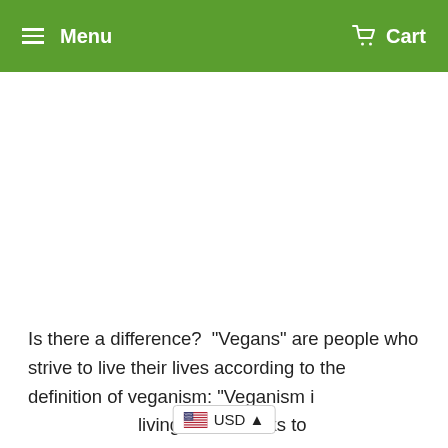Menu  Cart
Is there a difference?  “Vegans” are people who strive to live their lives according to the definition of veganism: “Veganism i  USD ▲  living which seeks to